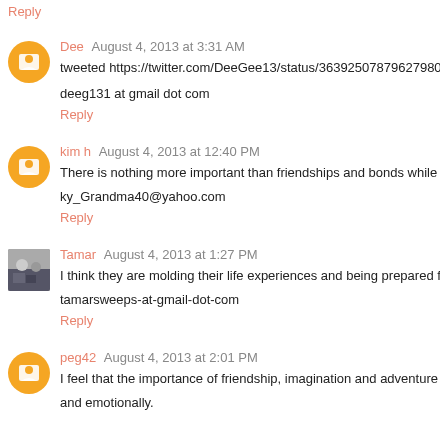Reply
Dee  August 4, 2013 at 3:31 AM
tweeted https://twitter.com/DeeGee13/status/363925078796279808
deeg131 at gmail dot com
Reply
kim h  August 4, 2013 at 12:40 PM
There is nothing more important than friendships and bonds while gro...
ky_Grandma40@yahoo.com
Reply
Tamar  August 4, 2013 at 1:27 PM
I think they are molding their life experiences and being prepared for a...
tamarsweeps-at-gmail-dot-com
Reply
peg42  August 4, 2013 at 2:01 PM
I feel that the importance of friendship, imagination and adventure in...
and emotionally.